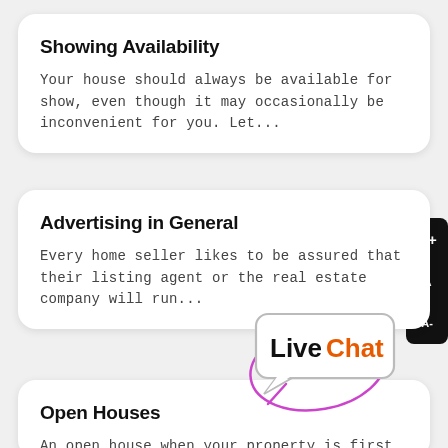Showing Availability
Your house should always be available for show, even though it may occasionally be inconvenient for you. Let...
Advertising in General
Every home seller likes to be assured that their listing agent or the real estate company will run...
[Figure (logo): LiveChat logo in a speech bubble shape, with a magenta/purple hand-drawn circle annotation around it]
Open Houses
An open house when your property is first placed on the